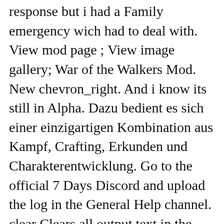response but i had a Family emergency wich had to deal with. View mod page ; View image gallery; War of the Walkers Mod. New chevron_right. And i know its still in Alpha. Dazu bedient es sich einer einzigartigen Kombination aus Kampf, Crafting, Erkunden und Charakterentwicklung. Go to the official 7 Days Discord and upload the log in the General Help channel. clear Clears all output text in the command console cp add Used to add a command to the command permission list with the desired permission level. I did install the newest Driver for my Graphiccard. I am running Windows 10 on an Alienware 17 R4 system with anI7 7820HK 2.90 GHZ, Nvidia Geforce 1080 1M. Berufsschuhe für jeden Tag und hohe Ansprüche finden Sie bei 7days. Log on to our website 2. ihr sterbt. It's a powerful example of how a game, even when executed